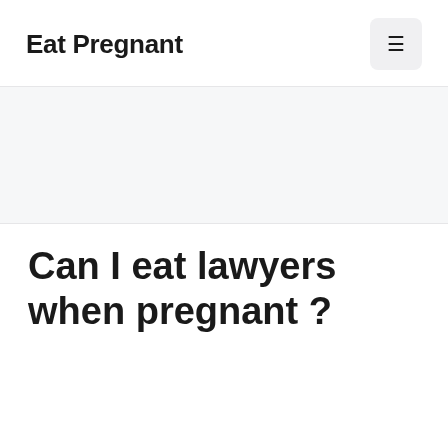Eat Pregnant
Can I eat lawyers when pregnant ?